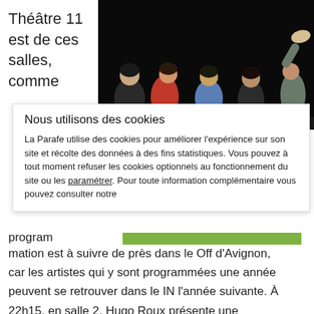Théâtre 11 est de ces salles, comme
[Figure (photo): Theater performance on stage with four young performers in dark lighting, one with leg raised.]
Nous utilisons des cookies
La Parafe utilise des cookies pour améliorer l'expérience sur son site et récolte des données à des fins statistiques. Vous pouvez à tout moment refuser les cookies optionnels au fonctionnement du site ou les paramétrer. Pour toute information complémentaire vous pouvez consulter notre
program
mation est à suivre de près dans le Off d'Avignon, car les artistes qui y sont programmées une année peuvent se retrouver dans le IN l'année suivante. À 22h15, en salle 2, Hugo Roux présente une adaptation de leurs enfants après sur roman de